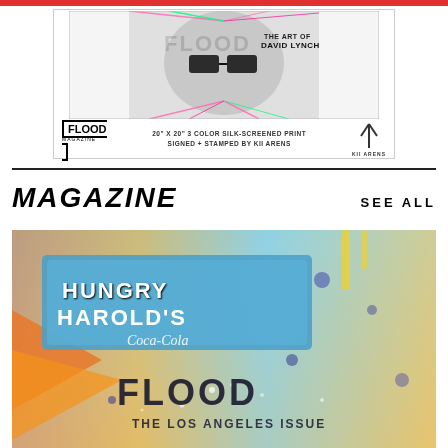[Figure (illustration): FLOOD Magazine advertisement featuring artwork of David Lynch by Kii Arens - colorful silk-screened print with neon lines radiating from a face. Bottom shows FLOOD MAGAZINE logo, text '20" X 20" 3 COLOR SILK-SCREENED PRINT SIGNED + STAMPED BY KII ARENS', and KII ARENS logo.]
MAGAZINE
SEE ALL
[Figure (photo): FLOOD Magazine cover showing 'Hungry Harold's Coca-Cola' sign with colorful graffiti/street art background. Text reads 'FLOOD' and 'THE LOS ANGELES ISSUE'.]